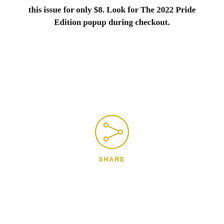this issue for only $8. Look for The 2022 Pride Edition popup during checkout.
[Figure (other): A circular share button icon with a share/network symbol inside, rendered in golden yellow color, with the text SHARE below it in spaced golden yellow capital letters.]